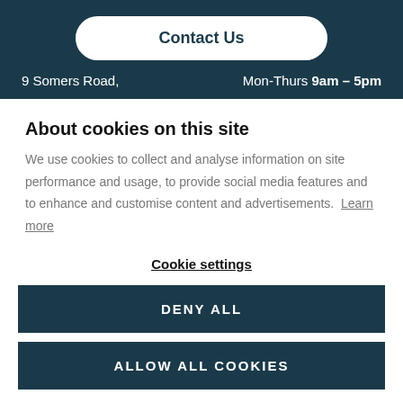Contact Us
9 Somers Road,
Mon-Thurs 9am – 5pm
About cookies on this site
We use cookies to collect and analyse information on site performance and usage, to provide social media features and to enhance and customise content and advertisements.  Learn more
Cookie settings
DENY ALL
ALLOW ALL COOKIES